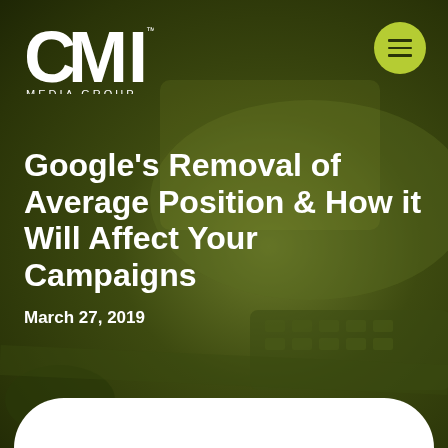[Figure (logo): CMI Media Group logo in white on dark olive green background]
Google's Removal of Average Position & How it Will Affect Your Campaigns
March 27, 2019